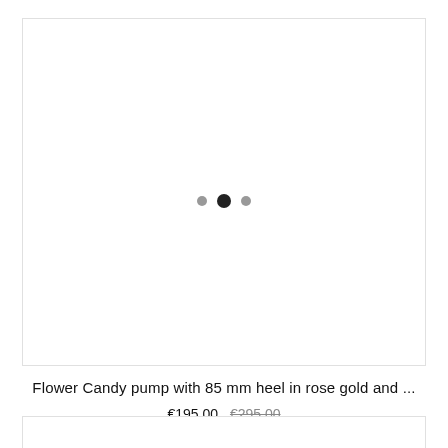[Figure (photo): Product image placeholder box with three navigation dots (carousel indicator) in the center: left dot gray, middle dot dark/active, right dot gray]
Flower Candy pump with 85 mm heel in rose gold and ...
€195.00  €295.00